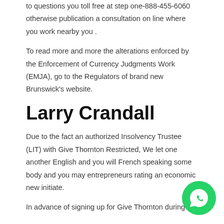to questions you toll free at step one-888-455-6060 otherwise publication a consultation on line where you work nearby you .
To read more and more the alterations enforced by the Enforcement of Currency Judgments Work (EMJA), go to the Regulators of brand new Brunswick's website.
Larry Crandall
Due to the fact an authorized Insolvency Trustee (LIT) with Give Thornton Restricted, We let one another English and you will French speaking some body and you may entrepreneurs rating an economic new initiate.
In advance of signing up for Give Thornton during